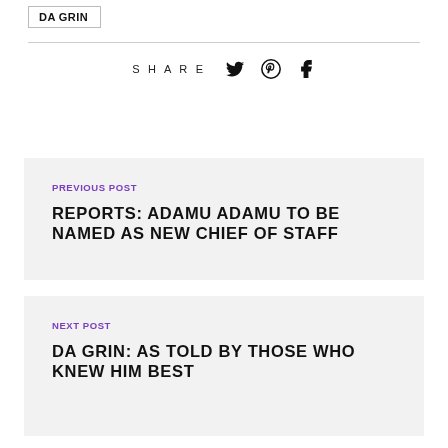DA GRIN
SHARE
PREVIOUS POST
REPORTS: ADAMU ADAMU TO BE NAMED AS NEW CHIEF OF STAFF
NEXT POST
DA GRIN: AS TOLD BY THOSE WHO KNEW HIM BEST